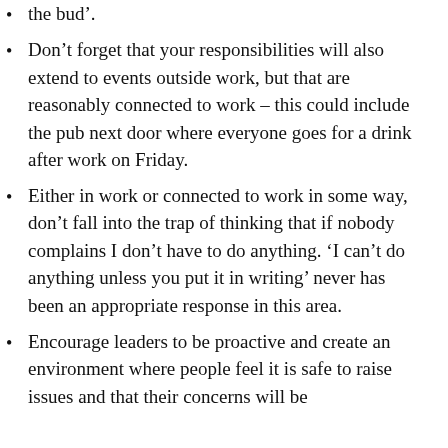the bud'.
Don't forget that your responsibilities will also extend to events outside work, but that are reasonably connected to work – this could include the pub next door where everyone goes for a drink after work on Friday.
Either in work or connected to work in some way, don't fall into the trap of thinking that if nobody complains I don't have to do anything. 'I can't do anything unless you put it in writing' never has been an appropriate response in this area.
Encourage leaders to be proactive and create an environment where people feel it is safe to raise issues and that their concerns will be